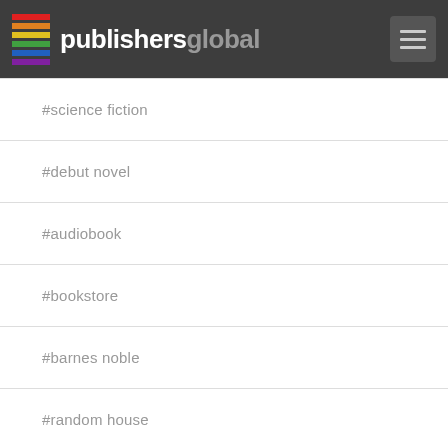publishersglobal
#science fiction
#debut novel
#audiobook
#bookstore
#barnes noble
#random house
#book club
#pan macmillan
#harpercollins